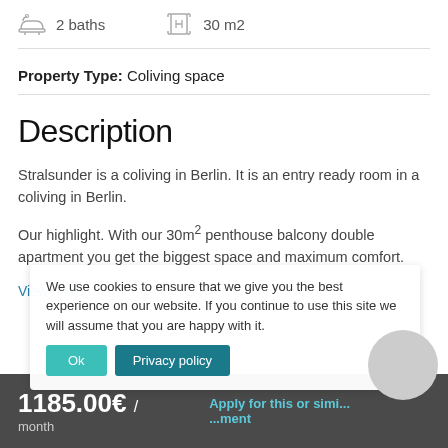2 baths   30 m2
Property Type: Coliving space
Description
Stralsunder is a coliving in Berlin. It is an entry ready room in a coliving in Berlin.
Our highlight. With our 30m² penthouse balcony double apartment you get the biggest space and maximum comfort.
View more
We use cookies to ensure that we give you the best experience on our website. If you continue to use this site we will assume that you are happy with it.
1185.00€ / month
Apply for this or similar apartment